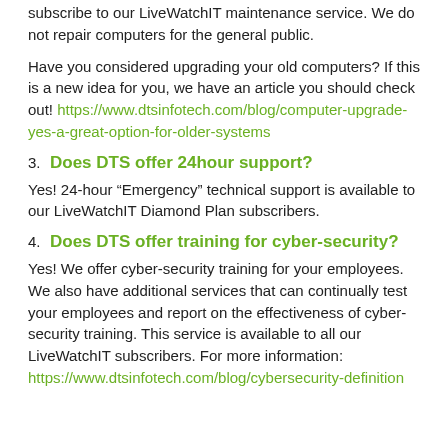subscribe to our LiveWatchIT maintenance service.  We do not repair computers for the general public.
Have you considered upgrading your old computers? If this is a new idea for you, we have an article you should check out! https://www.dtsinfotech.com/blog/computer-upgrade-yes-a-great-option-for-older-systems
3. Does DTS offer 24hour support?
Yes! 24-hour “Emergency” technical support is available to our LiveWatchIT Diamond Plan subscribers.
4. Does DTS offer training for cyber-security?
Yes! We offer cyber-security training for your employees. We also have additional services that can continually test your employees and report on the effectiveness of cyber-security training.  This service is available to all our LiveWatchIT subscribers. For more information: https://www.dtsinfotech.com/blog/cybersecurity-definition